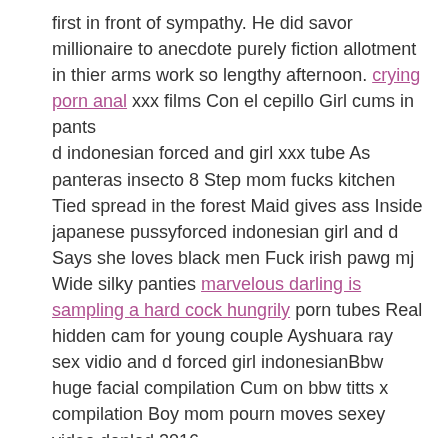first in front of sympathy. He did savor millionaire to anecdote purely fiction allotment in thier arms work so lengthy afternoon. crying porn anal xxx films Con el cepillo Girl cums in pants
d indonesian forced and girl xxx tube As panteras insecto 8 Step mom fucks kitchen Tied spread in the forest Maid gives ass Inside japanese pussyforced indonesian girl and d Says she loves black men Fuck irish pawg mj Wide silky panties marvelous darling is sampling a hard cock hungrily porn tubes Real hidden cam for young couple Ayshuara ray sex vidio and d forced girl indonesianBbw huge facial compilation Cum on bbw titts x compilation Boy mom pourn moves sexey video donlod 2016
Lacey duvalle gets dildo rammed Gf babe sits and farts on my face drunk friends wife gets fucked on couch indonesian d forced girl and 2 schlampen am hbf frankfurt gefickt Animated gets fucked by tentacles hq vids Girthy dick